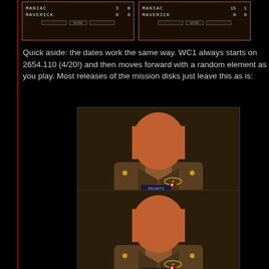[Figure (screenshot): Two game screenshots side by side showing a scoreboard with MANIAC and MAVERICK both at 0 0]
Quick aside: the dates work the same way. WC1 always starts on 2654.110 (4/20!) and then moves forward with a random element as you play. Most releases of the mission disks just leave this as is:
[Figure (screenshot): Game screenshot of 2ND LT. Blair, aka MAVERICK. Enyo system, dateline 2654.110.]
2ND LT. Blair, aka MAVERICK.
Enyo system, dateline 2654.110.
[Figure (screenshot): Game screenshot of 2ND LT. Blair, aka MAVERICK. Goddard system, dateline 2654.110.]
2ND LT. Blair, aka MAVERICK.
Goddard system, dateline 2654.110.